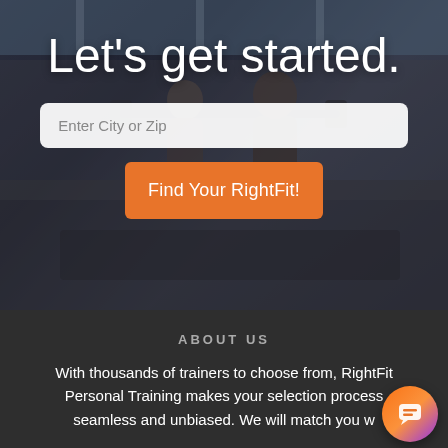[Figure (photo): Background photo of a gym with people lifting barbells, overlaid with a dark semi-transparent filter]
Let's get started.
Enter City or Zip
Find Your RightFit!
ABOUT US
With thousands of trainers to choose from, RightFit Personal Training makes your selection process seamless and unbiased. We will match you w